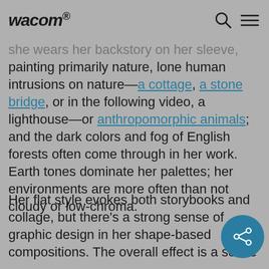wacom
she wears her backstory on her sleeve, painting primarily nature, lone human intrusions on nature—a cottage, a stone bridge, or in the following video, a lighthouse—or anthropomorphic animals; and the dark colors and fog of English forests often come through in her work. Earth tones dominate her palettes; her environments are more often than not cloudy or low-chroma.
Her flat style evokes both storybooks and collage, but there's a strong sense of graphic design in her shape-based compositions. The overall effect is a sense